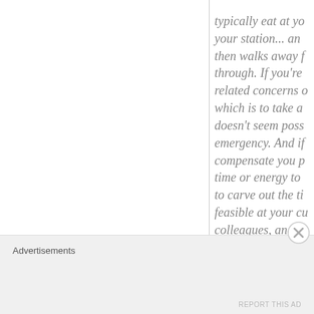typically eat at your station... and then walks away from through. If you're related concerns which is to take a doesn't seem possible emergency. And if compensate you for time or energy to to carve out the time feasible at your current colleagues, and do
Advertisements
REPORT THIS AD